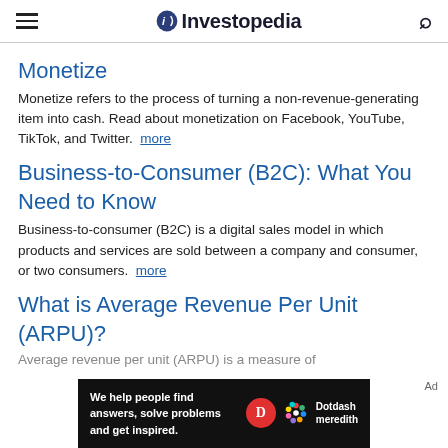Investopedia
Monetize
Monetize refers to the process of turning a non-revenue-generating item into cash. Read about monetization on Facebook, YouTube, TikTok, and Twitter. more
Business-to-Consumer (B2C): What You Need to Know
Business-to-consumer (B2C) is a digital sales model in which products and services are sold between a company and consumer, or two consumers. more
What is Average Revenue Per Unit (ARPU)?
[Figure (other): Dotdash Meredith advertisement banner at bottom of page with text: We help people find answers, solve problems and get inspired.]